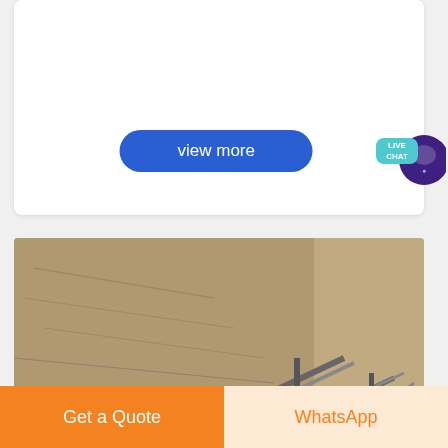[Figure (other): White card area at top of page]
view more
[Figure (other): Live Chat button - teal speech bubble with purple circle icon]
[Figure (photo): Mining equipment site photo showing conveyor belts, trucks, and excavators at a quarry hillside. Bottom right overlay shows 'MINING EQUIPMENT ACRUSHER' logo with green diagonal stripes.]
screw conveyor auto cad drawings |
Get a Quote
WhatsApp